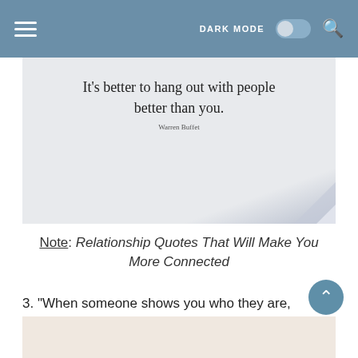DARK MODE toggle and search icon
[Figure (illustration): A handwritten-style quote on a light grayish-blue background with a page curl in the bottom-right corner. Text reads: It's better to hang out with people better than you. Warren Buffet]
Note: Relationship Quotes That Will Make You More Connected
3. "When someone shows you who they are, believe them the first time." (Maya Angelou) Click to tweet